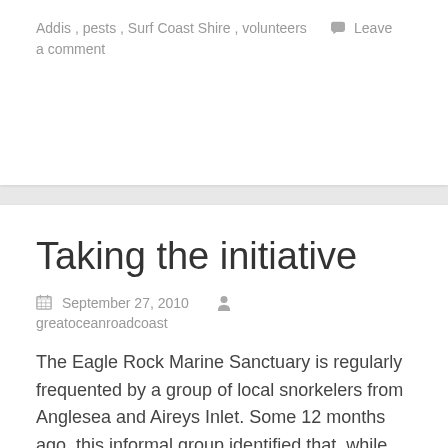Addis , pests , Surf Coast Shire , volunteers   Leave a comment
Taking the initiative
September 27, 2010   greatoceanroadcoast
The Eagle Rock Marine Sanctuary is regularly frequented by a group of local snorkelers from Anglesea and Aireys Inlet. Some 12 months ago, this informal group identified that, while the Friends of Point Addis group encompasses Eagle Rock, there was certainly room to establish a standalone friends group.